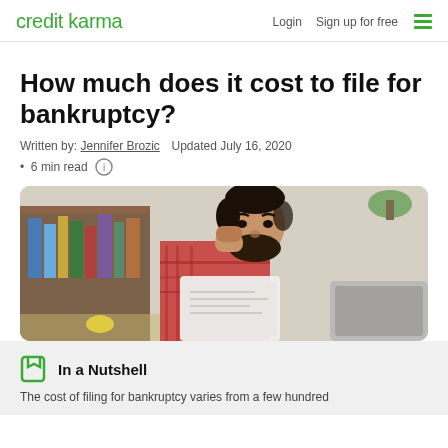credit karma  Login  Sign up for free
How much does it cost to file for bankruptcy?
Written by: Jennifer Brozic  Updated July 16, 2020
• 6 min read
[Figure (photo): Man with beard in red plaid shirt holding papers, looking stressed, with bookshelf in background]
In a Nutshell
The cost of filing for bankruptcy varies from a few hundred